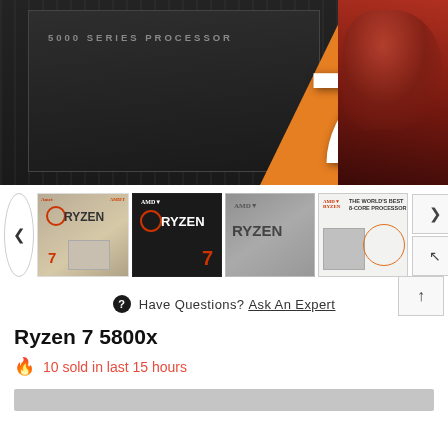[Figure (photo): AMD Ryzen 7 5000 Series Processor product box, dark gray with orange '7' logo and red dragon graphic]
[Figure (photo): Row of 4 AMD Ryzen product thumbnail images showing different box styles and the AMD Ryzen branding, with navigation arrows]
Have Questions? Ask An Expert
Ryzen 7 5800x
10 sold in last 15 hours
[Figure (photo): Partial view of a product image or banner at the bottom of the page]